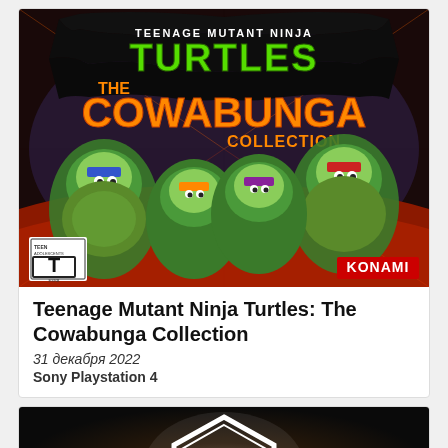[Figure (illustration): Game cover art for Teenage Mutant Ninja Turtles: The Cowabunga Collection by Konami. Shows the four turtles with TMNT logo, T for Teen ESRB rating, and Konami logo.]
Teenage Mutant Ninja Turtles: The Cowabunga Collection
31 декабря 2022
Sony Playstation 4
[Figure (logo): Game cover/logo for Street Fighter 6 (SF6) — white hexagon badge logo with SF6 text on dark background.]